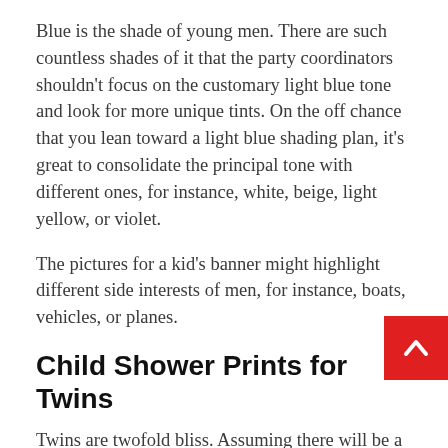Blue is the shade of young men. There are such countless shades of it that the party coordinators shouldn't focus on the customary light blue tone and look for more unique tints. On the off chance that you lean toward a light blue shading plan, it's great to consolidate the principal tone with different ones, for instance, white, beige, light yellow, or violet.
The pictures for a kid's banner might highlight different side interests of men, for instance, boats, vehicles, or planes.
Child Shower Prints for Twins
Twins are twofold bliss. Assuming there will be a kid and a young lady, it's smarter to make the party stylistic theme in blue and pink tones or the ones, which are impartial for the two sexual orientations.